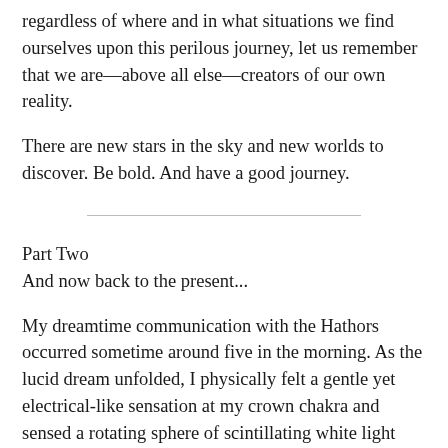regardless of where and in what situations we find ourselves upon this perilous journey, let us remember that we are—above all else—creators of our own reality.
There are new stars in the sky and new worlds to discover. Be bold. And have a good journey.
Part Two
And now back to the present...
My dreamtime communication with the Hathors occurred sometime around five in the morning. As the lucid dream unfolded, I physically felt a gentle yet electrical-like sensation at my crown chakra and sensed a rotating sphere of scintillating white light